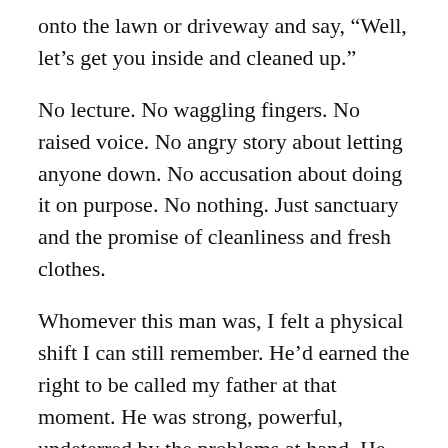onto the lawn or driveway and say, “Well, let’s get you inside and cleaned up.”
No lecture. No waggling fingers. No raised voice. No angry story about letting anyone down. No accusation about doing it on purpose. No nothing. Just sanctuary and the promise of cleanliness and fresh clothes.
Whomever this man was, I felt a physical shift I can still remember. He’d earned the right to be called my father at that moment. He was strong, powerful, undeterred by the problems at hand. He was unrushed and purposeful. He was in charge and that was fine by me. No tragedy was too great for him to handle. Unflappable and confident he was. It’s my purest image of masculinity.